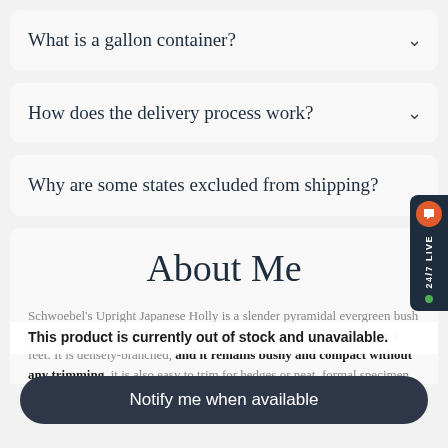What is a gallon container?
How does the delivery process work?
Why are some states excluded from shipping?
About Me
Schwoebel's Upright Japanese Holly is a slender pyramidal evergreen bush that grows to perhaps 8 feet with a spread at the base of no more than 4 feet. It is densely-branched, and it remains bushy and compact without any trimming. It is also easy to trim for hedges or neat, formal specimens.
This product is currently out of stock and unavailable.
Notify me when available